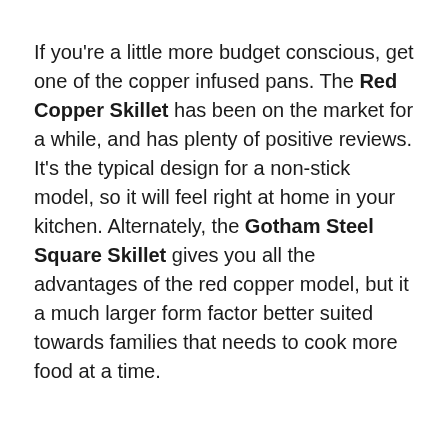If you're a little more budget conscious, get one of the copper infused pans. The Red Copper Skillet has been on the market for a while, and has plenty of positive reviews. It's the typical design for a non-stick model, so it will feel right at home in your kitchen. Alternately, the Gotham Steel Square Skillet gives you all the advantages of the red copper model, but it a much larger form factor better suited towards families that needs to cook more food at a time.